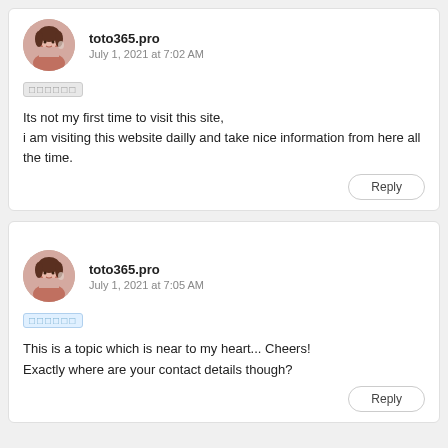toto365.pro
July 1, 2021 at 7:02 AM
[tofu blocks] Its not my first time to visit this site, i am visiting this website dailly and take nice information from here all the time.
Reply
toto365.pro
July 1, 2021 at 7:05 AM
[tofu blocks]
This is a topic which is near to my heart... Cheers!
Exactly where are your contact details though?
Reply